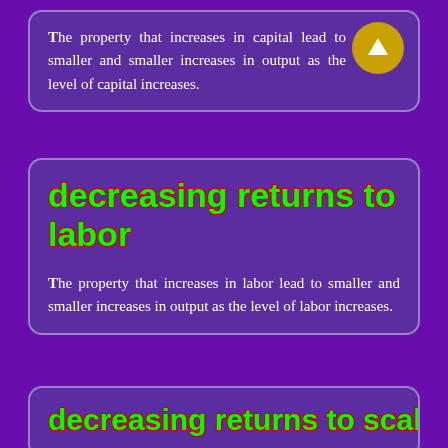The property that increases in capital lead to smaller and smaller increases in output as the level of capital increases.
decreasing returns to labor
The property that increases in labor lead to smaller and smaller increases in output as the level of labor increases.
decreasing returns to scale